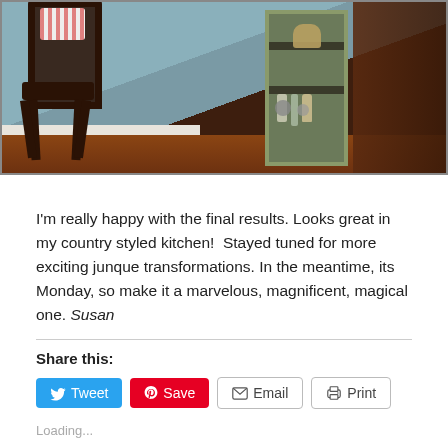[Figure (photo): Indoor photo showing a dark wooden spindle-back chair with a red and white striped pillow, next to a green painted shelf/cabinet unit holding jars and bottles, on a dark red wood floor with a light blue-gray wall in the background.]
I'm really happy with the final results. Looks great in my country styled kitchen!  Stayed tuned for more exciting junque transformations. In the meantime, its Monday, so make it a marvelous, magnificent, magical one. Susan
Share this:
Loading...